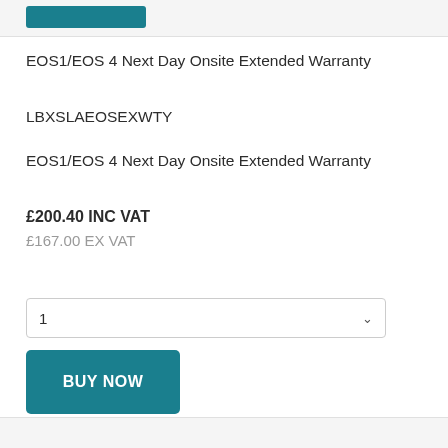EOS1/EOS 4 Next Day Onsite Extended Warranty
LBXSLAEOSEXWTY
EOS1/EOS 4 Next Day Onsite Extended Warranty
£200.40 INC VAT
£167.00 EX VAT
1
BUY NOW